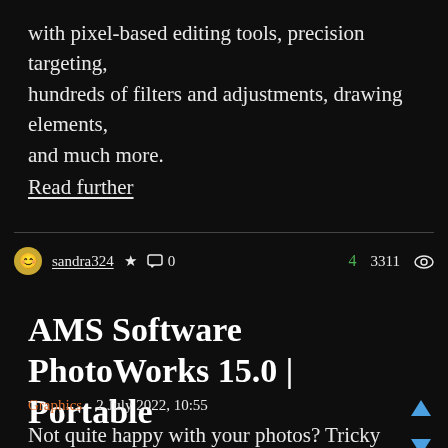with pixel-based editing tools, precision targeting, hundreds of filters and adjustments, drawing elements, and much more.
Read further
sandra324  ★  💬 0   4  3311 👁
AMS Software PhotoWorks 15.0 | Portable
Graphics   2 July 2022, 10:55
Not quite happy with your photos? Tricky weather a lighting conditions or a stranger in the background h ruined a priceless shot? Vacation pictures don't look